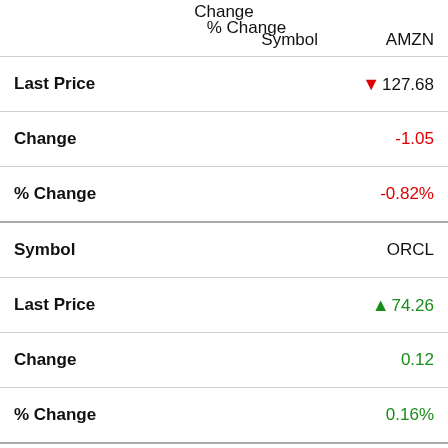|  | Change / % Change / Symbol / AMZN |
| --- | --- |
| Last Price | ▼ 127.68 |
| Change | -1.05 |
| % Change | -0.82% |
| Symbol | ORCL |
| Last Price | ▲ 74.26 |
| Change | 0.12 |
| % Change | 0.16% |
| Symbol | JPM |